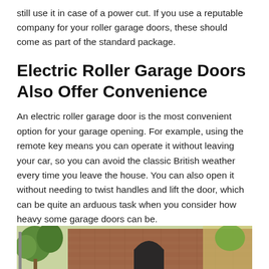still use it in case of a power cut. If you use a reputable company for your roller garage doors, these should come as part of the standard package.
Electric Roller Garage Doors Also Offer Convenience
An electric roller garage door is the most convenient option for your garage opening. For example, using the remote key means you can operate it without leaving your car, so you can avoid the classic British weather every time you leave the house. You can also open it without needing to twist handles and lift the door, which can be quite an arduous task when you consider how heavy some garage doors can be.
[Figure (photo): Photograph of a brick building with an arched doorway and green trees/foliage visible]